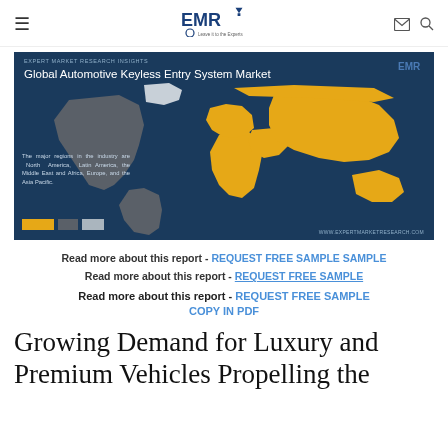EMR - Expert Market Research
[Figure (map): Global Automotive Keyless Entry System Market world map infographic. Dark blue background with world map showing regions in gold/yellow (Asia Pacific, Europe, Middle East and Africa) and dark grey (North America, Latin America). Text: 'The major regions in the industry are North America, Latin America, the Middle East and Africa, Europe, and the Asia Pacific.' Legend with colored boxes. Website: www.expertmarketresearch.com. EMR logo top right.]
Read more about this report - REQUEST FREE SAMPLE COPY IN PDF
Growing Demand for Luxury and Premium Vehicles Propelling the